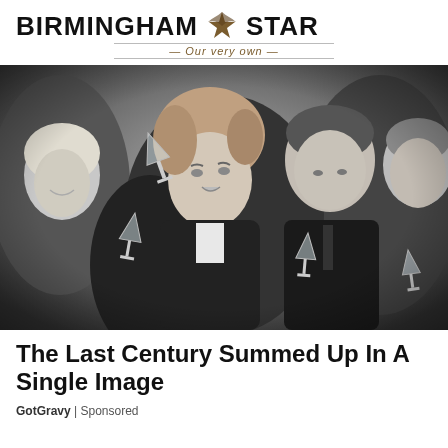BIRMINGHAM STAR — Our very own
[Figure (photo): Black and white photograph of a group of people at a social gathering, holding and raising champagne glasses. A woman with styled auburn hair wearing a dark leather jacket is in the center foreground, looking sideways with a surprised or contemplative expression. Around her are other men and women also holding glasses, appearing to celebrate or toast.]
The Last Century Summed Up In A Single Image
GotGravy | Sponsored